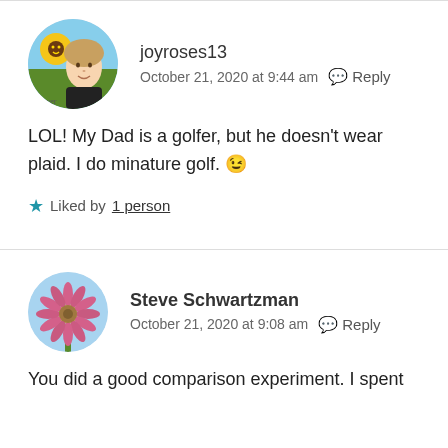[Figure (photo): Circular avatar of joyroses13: a woman in front of sunflowers with a smiley face drawn on one flower, signature 'lover' at bottom]
joyroses13
October 21, 2020 at 9:44 am  Reply
LOL! My Dad is a golfer, but he doesn't wear plaid. I do minature golf. 😉
Liked by 1 person
[Figure (photo): Circular avatar of Steve Schwartzman: a pink/purple spiky flower against a blue sky background]
Steve Schwartzman
October 21, 2020 at 9:08 am  Reply
You did a good comparison experiment. I spent